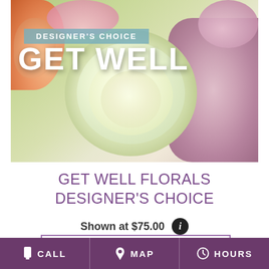[Figure (photo): Floral arrangement photo with white/cream large flower in center, peachy-orange flowers on left, pink/mauve flowers on right, green foliage background. Overlay text: DESIGNER'S CHOICE and GET WELL]
GET WELL FLORALS DESIGNER'S CHOICE
Shown at $75.00
BUY NOW
CALL  MAP  HOURS